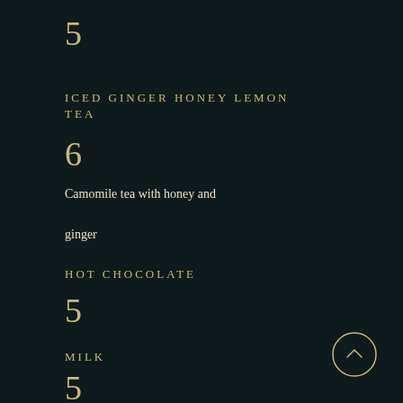5
ICED GINGER HONEY LEMON TEA
6
Camomile tea with honey and ginger
HOT CHOCOLATE
5
MILK
5